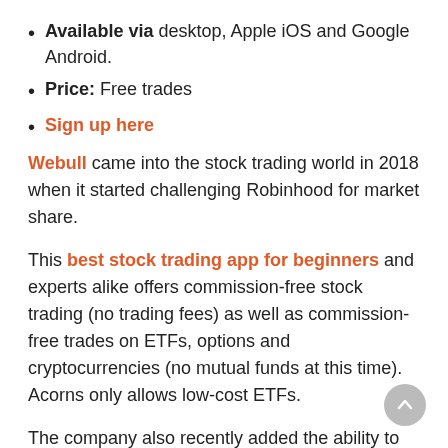Available via desktop, Apple iOS and Google Android.
Price: Free trades
Sign up here
Webull came into the stock trading world in 2018 when it started challenging Robinhood for market share.
This best stock trading app for beginners and experts alike offers commission-free stock trading (no trading fees) as well as commission-free trades on ETFs, options and cryptocurrencies (no mutual funds at this time). Acorns only allows low-cost ETFs.
The company also recently added the ability to trade fractional shares, making this a great app for micro investing.
Like most investment apps available, the company